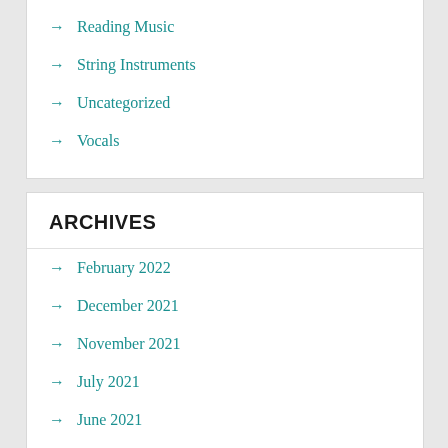→ Reading Music
→ String Instruments
→ Uncategorized
→ Vocals
ARCHIVES
→ February 2022
→ December 2021
→ November 2021
→ July 2021
→ June 2021
→ May 2021
→ April 2021